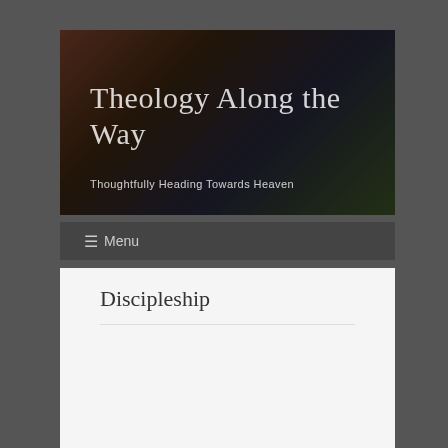[Figure (photo): Banner image for Theology Along the Way blog showing books and a cup, dark background with overlaid title text]
Theology Along the Way
Thoughtfully Heading Towards Heaven
☰ Menu
Discipleship
[Figure (other): White card/article thumbnail placeholder in content area]